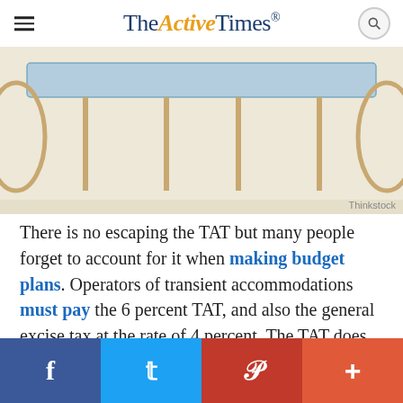TheActiveTimes
[Figure (photo): Partial view of an outdoor setting with chairs/furniture, light blue background element visible at top, warm beige tones. Thinkstock credit.]
Thinkstock
There is no escaping the TAT but many people forget to account for it when making budget plans. Operators of transient accommodations must pay the 6 percent TAT, and also the general excise tax at the rate of 4 percent. The TAT does not include separate charges for guest amenities such as meals and telephone calls.
Facebook Twitter Pinterest More